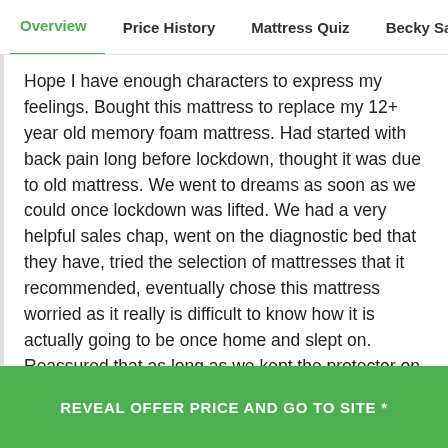Overview | Price History | Mattress Quiz | Becky Says | Pe
Hope I have enough characters to express my feelings. Bought this mattress to replace my 12+ year old memory foam mattress. Had started with back pain long before lockdown, thought it was due to old mattress. We went to dreams as soon as we could once lockdown was lifted. We had a very helpful sales chap, went on the diagnostic bed that they have, tried the selection of mattresses that it recommended, eventually chose this mattress worried as it really is difficult to know how it is actually going to be once home and slept on. Reassured that as long as we kept the protector on, we could exchange it if not happy for uptown 30 days. I can honestly say that we really couldn't be happier. It may sound corny and forced, but I really am sleeping better, not waking
REVEAL OFFER PRICE AND GO TO SITE *